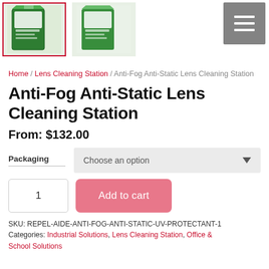[Figure (photo): Two product thumbnail images of Anti-Fog Anti-Static Lens Cleaning Station box (green and white packaging). First thumbnail has a red border indicating it is selected.]
Home / Lens Cleaning Station / Anti-Fog Anti-Static Lens Cleaning Station
Anti-Fog Anti-Static Lens Cleaning Station
From: $132.00
Packaging  Choose an option
1  Add to cart
SKU: REPEL-AIDE-ANTI-FOG-ANTI-STATIC-UV-PROTECTANT-1  Categories: Industrial Solutions, Lens Cleaning Station, Office & School Solutions